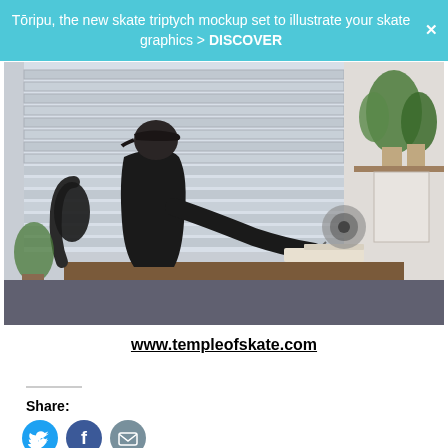Tōripu, the new skate triptych mockup set to illustrate your skate graphics > DISCOVER
[Figure (photo): Person in black hoodie and cap sitting at a desk drawing or writing, viewed from the side profile, with large window blinds in background and plants visible on the right side.]
www.templeofskate.com
Share: